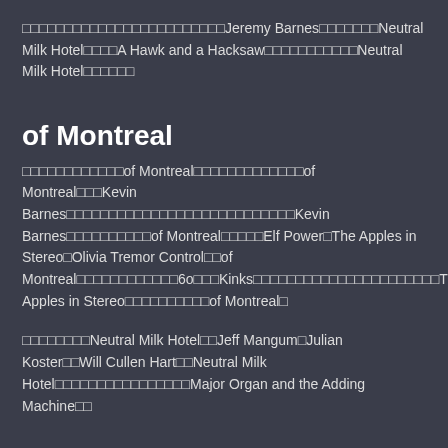□□□□□□□□□□□□□□□□□□□□□□□□Jeremy Barnes□□□□□□□Neutral Milk Hotel□□□□A Hawk and a Hacksaw□□□□□□□□□□□Neutral Milk Hotel□□□□□□
of Montreal
□□□□□□□□□□□□of Montreal□□□□□□□□□□□□□of Montreal□□□Kevin Barnes□□□□□□□□□□□□□□□□□□□□□□□□□□□Kevin Barnes□□□□□□□□□□of Montreal□□□□□Elf Power□The Apples in Stereo□Olivia Tremor Control□□of Montreal□□□□□□□□□□□□6o□□□Kinks□□□□□□□□□□□□□□□□□□□□□□The Apples in Stereo□□□□□□□□□□of Montreal□
□□□□□□□□Neutral Milk Hotel□□Jeff Mangum□Julian Koster□□Will Cullen Hart□□Neutral Milk Hotel□□□□□□□□□□□□□□□□Major Organ and the Adding Machine□□